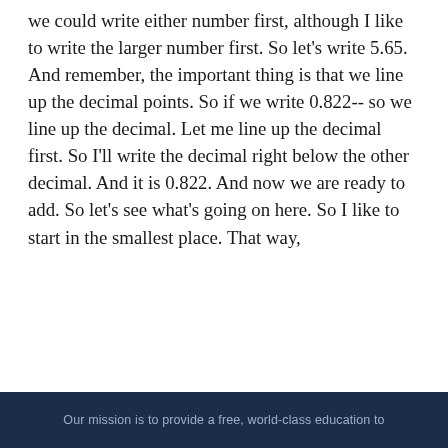we could write either number first, although I like to write the larger number first. So let's write 5.65. And remember, the important thing is that we line up the decimal points. So if we write 0.822-- so we line up the decimal. Let me line up the decimal first. So I'll write the decimal right below the other decimal. And it is 0.822. And now we are ready to add. So let's see what's going on here. So I like to start in the smallest place. That way,
Creative Commons Attribution/Non-Commercial/Share-Alike
Video on YouTube
Up Next
Adding three decimals
Our mission is to provide a free, world-class education to